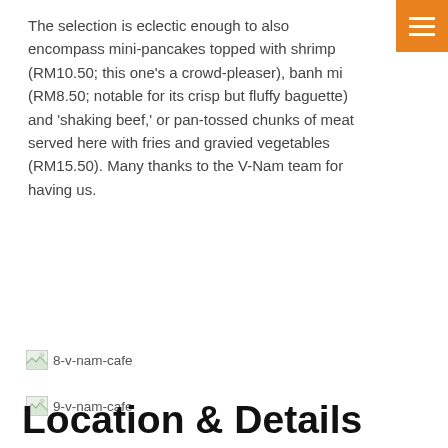The selection is eclectic enough to also encompass mini-pancakes topped with shrimp (RM10.50; this one’s a crowd-pleaser), banh mi (RM8.50; notable for its crisp but fluffy baguette) and ‘shaking beef,’ or pan-tossed chunks of meat served here with fries and gravied vegetables (RM15.50). Many thanks to the V-Nam team for having us.
[Figure (photo): Broken image placeholder labeled 8-v-nam-cafe]
[Figure (photo): Broken image placeholder labeled 9-v-nam-cafe]
[Figure (photo): Broken image placeholder labeled 10-v-nam-cafe]
[Figure (photo): Broken image placeholder labeled 11-v-nam-cafe]
Location & Details